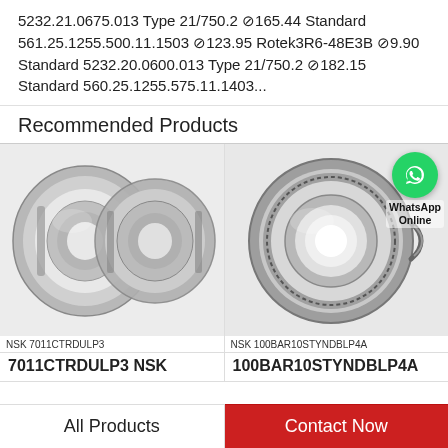5232.21.0675.013 Type 21/750.2 ⊘165.44 Standard 561.25.1255.500.11.1503 ⊘123.95 Rotek3R6-48E3B ⊘9.90 Standard 5232.20.0600.013 Type 21/750.2 ⊘182.15 Standard 560.25.1255.575.11.1403...
Recommended Products
[Figure (photo): NSK 7011CTRDULP3 bearing - cylindrical roller bearing shown disassembled]
NSK 7011CTRDULP3
[Figure (photo): NSK 100BAR10STYNDBLP4A bearing - deep groove ball bearing with WhatsApp Online overlay]
NSK 100BAR10STYNDBLP4A
7011CTRDULP3 NSK
100BAR10STYNDBLP4A
All Products
Contact Now